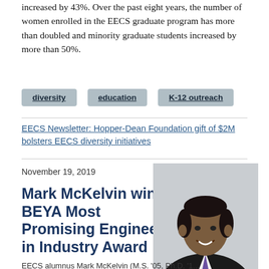increased by 43%.  Over the past eight years, the number of women enrolled in the EECS graduate program has more than doubled and minority graduate students increased by more than 50%.
diversity
education
K-12 outreach
EECS Newsletter: Hopper-Dean Foundation gift of $2M bolsters EECS diversity initiatives
November 19, 2019
Mark McKelvin wins BEYA Most Promising Engineer in Industry Award
[Figure (photo): Headshot of Mark McKelvin, a man in a dark suit with a purple tie, smiling, against a light background.]
EECS alumnus Mark McKelvin (M.S. '05, Ph.D.'1...